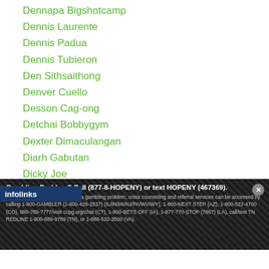Dennapa Bigshotcamp
Dennis Laurente
Dennis Padua
Dennis Tubieron
Den Sithsaithong
Denver Cuello
Desson Cag-ong
Detchai Bobbygym
Dexter Dimaculangan
Diarh Gabutan
Dicky Joe
Dimitri Sartison
Dino Bulahan
Dino Lelis
Diomedes Semella
Diover Mangaya Ay
infolinks
Gambling Problem? Call (877-8-HOPENY) or text HOPENY (467369). If you or someone you know has a gambling problem, crisis counseling and referral services can be accessed by calling 1-800-GAMBLER (1-800-426-2537) (IL/IN/MI/NJ/PA/WV/WY), 1-800-NEXT STEP (AZ), 1-800-522-4700 (CO), 888-789-7777/visit ccpg.org/chat (CT), 1-800-BETS OFF (IA), 1-877-770-STOP (7867) (LA), call/text TN REDLINE 1-800-889-9789 (TN), or 1-888-532-3500 (VA).